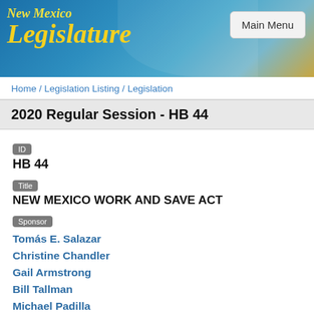[Figure (illustration): New Mexico Legislature website banner with blue/teal gradient background, gold text reading 'New Mexico Legislature', and a 'Main Menu' button on the right]
Home / Legislation Listing / Legislation
2020 Regular Session - HB 44
ID
HB 44
Title
NEW MEXICO WORK AND SAVE ACT
Sponsor
Tomás E. Salazar
Christine Chandler
Gail Armstrong
Bill Tallman
Michael Padilla
Current Location
Chaptered